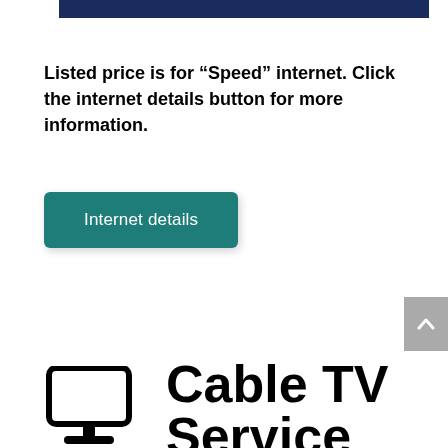[Figure (other): Dark navy blue horizontal bar at the top of the page]
Listed price is for “Speed” internet. Click the internet details button for more information.
[Figure (other): Teal/green button labeled 'Internet details']
[Figure (other): Gray scroll-to-top button with upward chevron arrow on the right side]
Cable TV Service